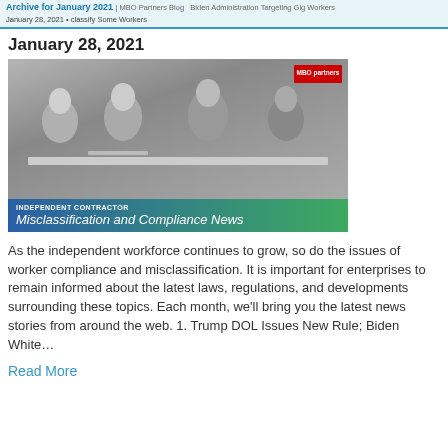Archive for January 2021 | MBO Partners Blog
January 28, 2021 • Biden Administration Targeting Gig Workers
January 28, 2021 | classify Some Workers
January 28, 2021
[Figure (photo): Black and white photo of four business professionals seated around a table in a meeting, with an MBO Partners logo badge in the top right corner. Below the photo is a banner with a blue-to-green gradient reading 'INDEPENDENT CONTRACTOR' in small text and 'Misclassification and Compliance News' in larger italic text.]
As the independent workforce continues to grow, so do the issues of worker compliance and misclassification. It is important for enterprises to remain informed about the latest laws, regulations, and developments surrounding these topics. Each month, we'll bring you the latest news stories from around the web. 1. Trump DOL Issues New Rule; Biden White…
Read More